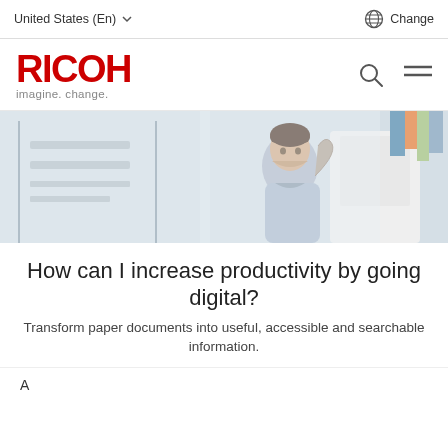United States (En) ∨   Change
[Figure (logo): RICOH logo with tagline 'imagine. change.' in red and gray]
[Figure (photo): Man in office leaning back in chair with hands behind head, looking to the side, in a bright modern office environment]
How can I increase productivity by going digital?
Transform paper documents into useful, accessible and searchable information.